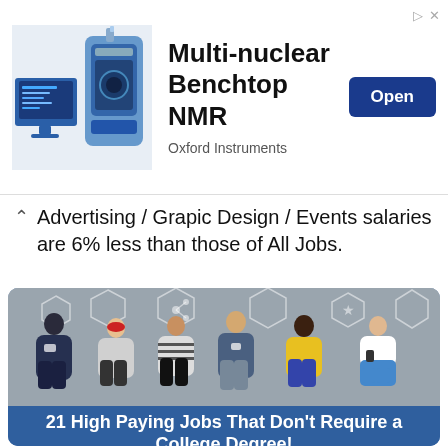[Figure (screenshot): Advertisement banner for Multi-nuclear Benchtop NMR by Oxford Instruments, showing lab equipment images on left, bold title text in center, and blue Open button on right. Corner has sponsor/close icons.]
Advertising / Grapic Design / Events salaries are 6% less than those of All Jobs.
[Figure (photo): Six young people standing against a concrete wall looking at their smartphones, with social media icons overlaid above them.]
21 High Paying Jobs That Don't Require a College Degree!